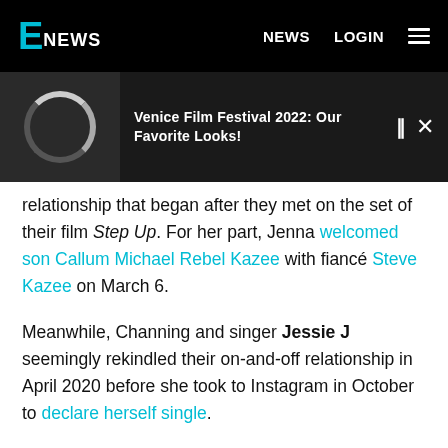E! NEWS  |  NEWS  LOGIN
[Figure (screenshot): E! News website header with black background, E! News logo in top-left, NEWS and LOGIN nav items, hamburger menu icon on right]
[Figure (screenshot): Video player banner showing circular loading spinner thumbnail, title 'Venice Film Festival 2022: Our Favorite Looks!', pause and close controls]
relationship that began after they met on the set of their film Step Up. For her part, Jenna welcomed son Callum Michael Rebel Kazee with fiancé Steve Kazee on March 6.
Meanwhile, Channing and singer Jessie J seemingly rekindled their on-and-off relationship in April 2020 before she took to Instagram in October to declare herself single.
In January 2020, The Blast reported that Channing